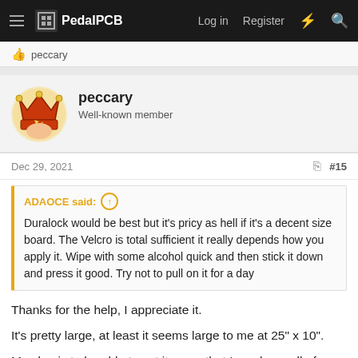PedalPCB  Log in  Register
👍 peccary
peccary
Well-known member
Dec 29, 2021  #15
ADAOCE said: ↑
Duralock would be best but it's pricy as hell if it's a decent size board. The Velcro is total sufficient it really depends how you apply it. Wipe with some alcohol quick and then stick it down and press it good. Try not to pull on it for a day
Thanks for the help, I appreciate it.
It's pretty large, at least it seems large to me at 25" x 10".
My plan is to be able to set it up so that I can have all of my pedals on it ready to go at my home studio for my guitar, bass